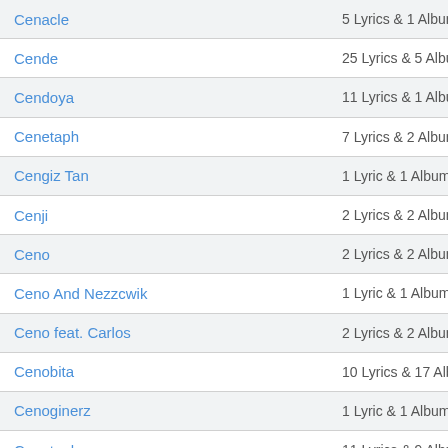| Artist | Count |
| --- | --- |
| Cenacle | 5 Lyrics & 1 Album |
| Cende | 25 Lyrics & 5 Albums |
| Cendoya | 11 Lyrics & 1 Album |
| Cenetaph | 7 Lyrics & 2 Albums |
| Cengiz Tan | 1 Lyric & 1 Album |
| Cenji | 2 Lyrics & 2 Albums |
| Ceno | 2 Lyrics & 2 Albums |
| Ceno And Nezzcwik | 1 Lyric & 1 Album |
| Ceno feat. Carlos | 2 Lyrics & 2 Albums |
| Cenobita | 10 Lyrics & 17 Albums |
| Cenoginerz | 1 Lyric & 1 Album |
| Cenotaph | 11 Lyrics & 9 Albums |
| (partial row) | 10 Lyrics & 1... |